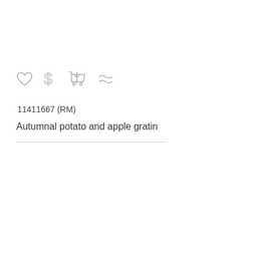[Figure (illustration): Row of four UI icons: heart (favorite), dollar sign (price), shopping cart (add to cart), and approximately-equal sign (similar items)]
11411667 (RM)
Autumnal potato and apple gratin